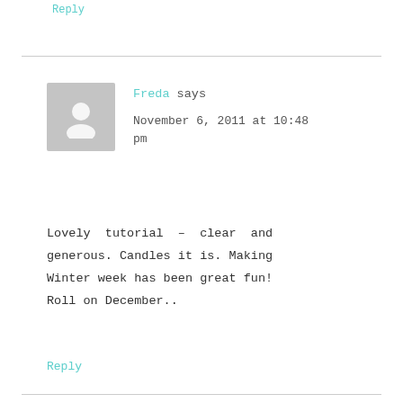Reply
Freda says
November 6, 2011 at 10:48 pm
Lovely tutorial – clear and generous. Candles it is. Making Winter week has been great fun! Roll on December..
Reply